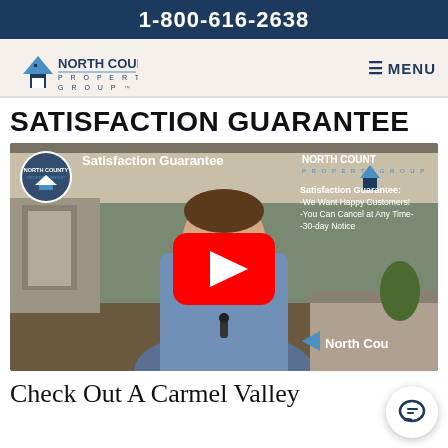1-800-616-2638
[Figure (logo): North County Property Group logo with house icon]
≡ MENU
SATISFACTION GUARANTEE
[Figure (screenshot): YouTube video thumbnail showing a man in a blue shirt standing in an office, with North County Property Group branding, title 'Satisfaction Guarantee', overlay text: 'Satisfaction Guarantee: -We Want Happy Customers! -You Can Cancel at Any Time- -30-day Notice', and a red YouTube play button in the center. Bottom right shows 'North Cou...' text.]
Check Out A Carmel Valley